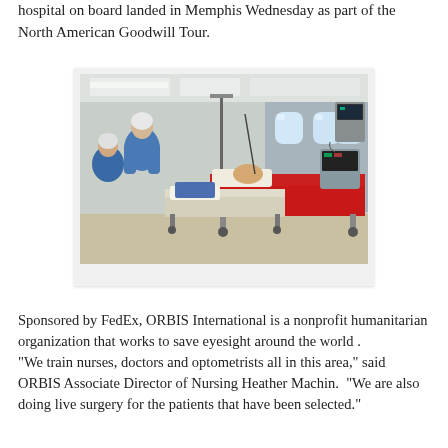hospital on board landed in Memphis Wednesday as part of the North American Goodwill Tour.
[Figure (photo): Interior of a flying hospital aircraft showing medical equipment, hospital beds with patients covered in red blankets, and medical staff in blue scrubs and protective gear.]
Sponsored by FedEx, ORBIS International is a nonprofit humanitarian organization that works to save eyesight around the world . "We train nurses, doctors and optometrists all in this area," said ORBIS Associate Director of Nursing Heather Machin.  "We are also doing live surgery for the patients that have been selected."